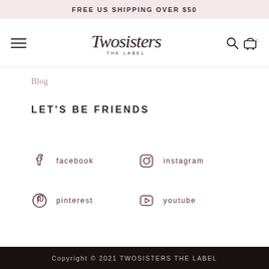FREE US SHIPPING OVER $50
[Figure (logo): TwoSisters The Label script logo with hamburger menu, search icon, and cart icon showing 0 items]
Blog
LET'S BE FRIENDS
facebook
instagram
pinterest
youtube
Copyright © 2021 TWOSISTERS THE LABEL